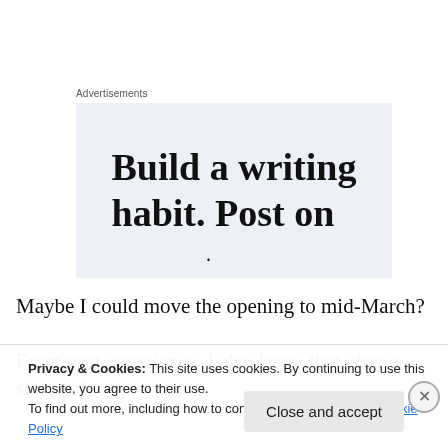Advertisements
[Figure (illustration): Advertisement banner with light blue/grey background showing large serif text: 'Build a writing habit. Post on' with a small bullet/dot below]
Maybe I could move the opening to mid-March?
From past experience, I also knew that after a storm of
Privacy & Cookies: This site uses cookies. By continuing to use this website, you agree to their use.
To find out more, including how to control cookies, see here: Cookie Policy